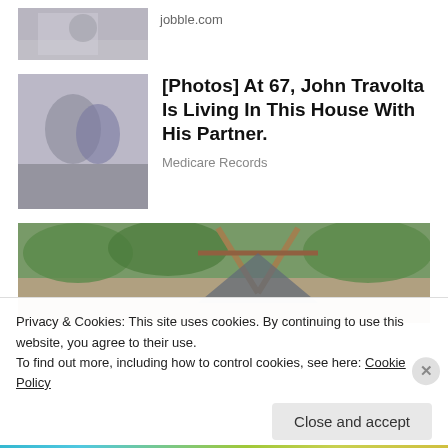[Figure (photo): Small thumbnail image of two people, partially visible at top left]
jobble.com
[Figure (photo): Medium thumbnail of two people in formal wear, black and white style]
[Photos] At 67, John Travolta Is Living In This House With His Partner.
Medicare Records
[Figure (photo): Wide landscape photo showing outdoor scene with green foliage and wooden structure/tent frame]
Privacy & Cookies: This site uses cookies. By continuing to use this website, you agree to their use.
To find out more, including how to control cookies, see here: Cookie Policy
Close and accept